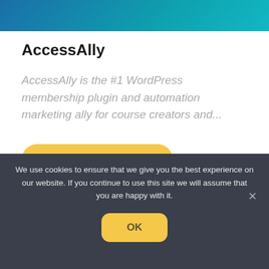[Figure (other): Teal/blue gradient banner image at top of page]
AccessAlly
AccessAlly is the #1 WordPress membership plugin and automation marketing ally for course creators and...
GO TO PLUGIN
We use cookies to ensure that we give you the best experience on our website. If you continue to use this site we will assume that you are happy with it.
OK